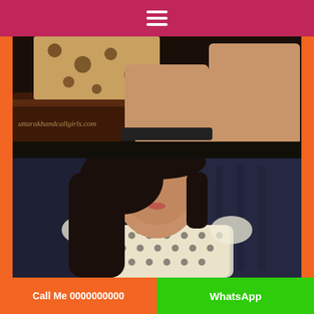[Figure (photo): Top photo showing legs/lower body with leopard print clothing and ankle strap, watermark reads uttarakhandcallgirls.com]
[Figure (photo): Bottom photo showing a young woman with blurred face, dark hair, wearing a white crochet top, against dark blue background]
Call Me 0000000000  |  WhatsApp